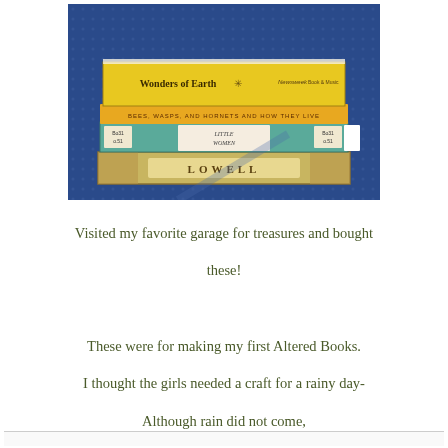[Figure (photo): A stack of old books on a blue patterned surface. The top book is yellow with 'Wonders of Earth' on the spine. Below is a book with bees/wasps in the title, then a teal/green book labeled 'Little Women', and the bottom book shows 'LOWELL' on its spine.]
Visited my favorite garage for treasures and bought these! These were for making my first Altered Books. I thought the girls needed a craft for a rainy day- Although rain did not come, we still started our Altered Maine Books which I will share in a later post!